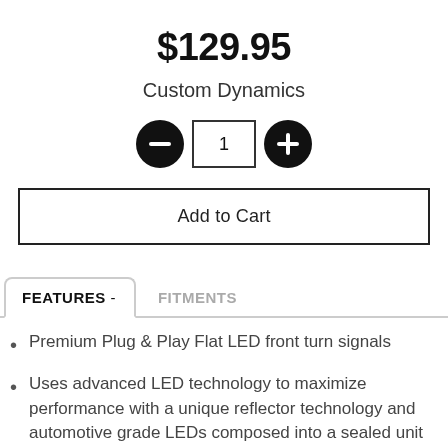$129.95
Custom Dynamics
[Figure (other): Quantity selector with minus button, quantity input box showing 1, and plus button]
Add to Cart
FEATURES - FITMENTS
Premium Plug & Play Flat LED front turn signals
Uses advanced LED technology to maximize performance with a unique reflector technology and automotive grade LEDs composed into a sealed unit